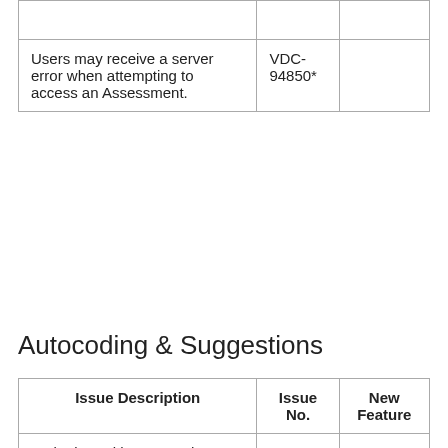|  | Issue No. | New Feature |
| --- | --- | --- |
| Users may receive a server error when attempting to access an Assessment. | VDC-94850* |  |
Autocoding & Suggestions
| Issue Description | Issue No. | New Feature |
| --- | --- | --- |
| Verbatims with apostrophes aren't autocoded when Enable Autocoding Enhancement is turned off. | VDC-93649* |  |
| When Enhanced... | VDC-... |  |